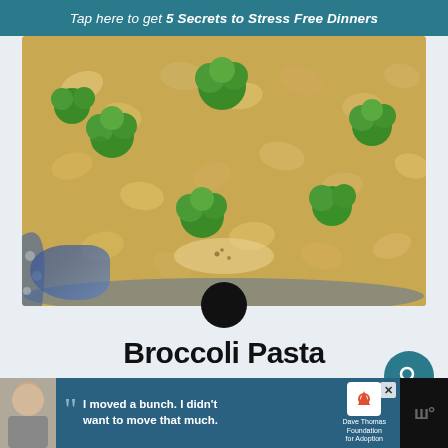Tap here to get 5 Secrets to Stress Free Dinners
[Figure (photo): Close-up photo of broccoli pasta — shell pasta with broccoli florets in a creamy sauce in a pan]
Broccoli Pasta
"Omg! I didn't think anything so simple could be so good!"
get recipe
[Figure (other): Advertisement banner: young man with quote 'I moved a bunch. I didn't want to move that much.' Dave Thomas Foundation for Adoption logo]